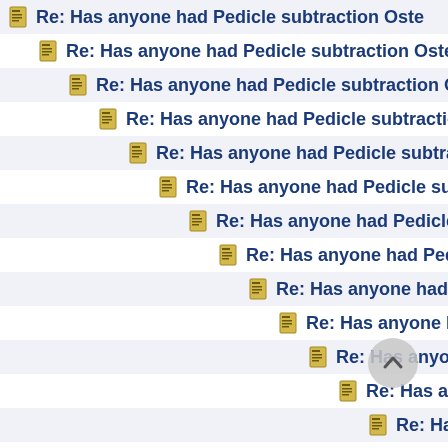Re: Has anyone had Pedicle subtraction Oste...
Re: Has anyone had Pedicle subtraction Oste...
Re: Has anyone had Pedicle subtraction Oste...
Re: Has anyone had Pedicle subtraction Os...
Re: Has anyone had Pedicle subtraction O...
Re: Has anyone had Pedicle subtractio...
Re: Has anyone had Pedicle subtrac...
Re: Has anyone had Pedicle subtr...
Re: Has anyone had Pedicle su...
Re: Has anyone had Pedicle ...
Re: Has anyone had Pedic...
Re: Has anyone had Pe...
Re: Has anyone had P...
Re: Has anyone ha...
Re: Has anyone h...